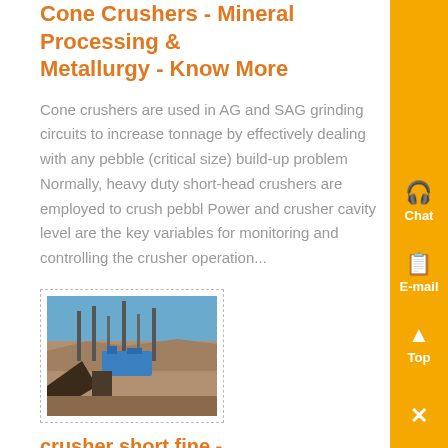Cone Crushers - Mineral Processing & Metallurgy - Know More
Cone crushers are used in AG and SAG grinding circuits to increase tonnage by effectively dealing with any pebble (critical size) build-up problem Normally, heavy duty short-head crushers are employed to crush pebbl Power and crusher cavity level are the key variables for monitoring and controlling the crusher operation...
[Figure (photo): Aerial or elevated view of a mining/construction site with equipment and blue machinery visible]
crusher short fine - byenstransportdk - Know More
Short Head Tertiary cone crusher (fine cone suitable to